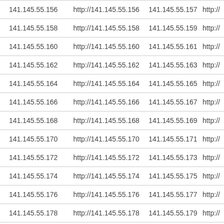| IP | URL | IP | URL |
| --- | --- | --- | --- |
| 141.145.55.156 | http://141.145.55.156 | 141.145.55.157 | http:// |
| 141.145.55.158 | http://141.145.55.158 | 141.145.55.159 | http:// |
| 141.145.55.160 | http://141.145.55.160 | 141.145.55.161 | http:// |
| 141.145.55.162 | http://141.145.55.162 | 141.145.55.163 | http:// |
| 141.145.55.164 | http://141.145.55.164 | 141.145.55.165 | http:// |
| 141.145.55.166 | http://141.145.55.166 | 141.145.55.167 | http:// |
| 141.145.55.168 | http://141.145.55.168 | 141.145.55.169 | http:// |
| 141.145.55.170 | http://141.145.55.170 | 141.145.55.171 | http:// |
| 141.145.55.172 | http://141.145.55.172 | 141.145.55.173 | http:// |
| 141.145.55.174 | http://141.145.55.174 | 141.145.55.175 | http:// |
| 141.145.55.176 | http://141.145.55.176 | 141.145.55.177 | http:// |
| 141.145.55.178 | http://141.145.55.178 | 141.145.55.179 | http:// |
| 141.145.55.180 | http://141.145.55.180 | 141.145.55.181 | http:// |